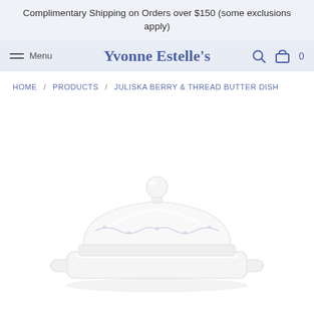Complimentary Shipping on Orders over $150 (some exclusions apply)
Menu  Yvonne Estelle's  [search] [cart] 0
HOME / PRODUCTS / JULISKA BERRY & THREAD BUTTER DISH
[Figure (photo): White ceramic butter dish with lid featuring delicate floral/berry and thread pattern embossed around the upper rim, with a round knob on top and small handles on the base dish. Set against a white background.]